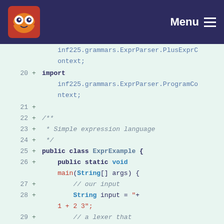[Figure (screenshot): Navigation bar with owl logo and Menu button on dark blue background]
Code diff view showing Java source code lines 19-30, including import statements for inf225.grammars.ExprParser.PlusExprContext and ProgramContext, a Javadoc comment for 'Simple expression language', public class ExprExample with a main method, String input declaration, and ExprLexer instantiation.